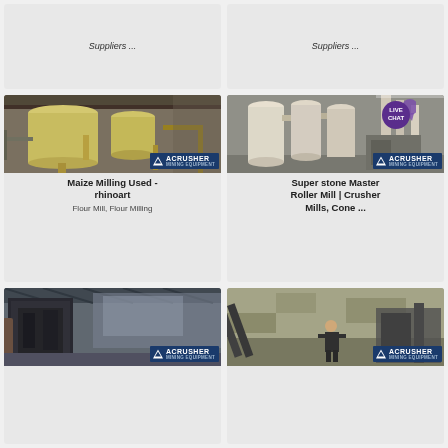Suppliers ...
Suppliers ...
[Figure (photo): Industrial flour milling equipment - large yellow/cream colored cylindrical tanks and processing machinery in a factory setting. ACRUSHER Mining Equipment logo overlay.]
Maize Milling Used - rhinoart
Flour Mill, Flour Milling
[Figure (photo): Industrial roller mill machinery - white/cream colored cylindrical dust collection units and processing equipment in a warehouse setting. LIVE CHAT badge and ACRUSHER Mining Equipment logo overlay.]
Super stone Master Roller Mill | Crusher Mills, Cone ...
[Figure (photo): Industrial mill or processing facility interior - dark machinery including what appears to be a large industrial grinder/classifier in a metal-roofed building. ACRUSHER Mining Equipment logo overlay.]
[Figure (photo): Quarry site with conveyor belts and crushing equipment - a person standing in front of stone quarry processing machinery. ACRUSHER Mining Equipment logo overlay.]